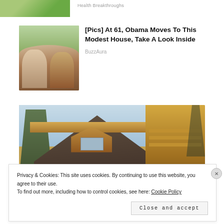[Figure (photo): Partial top image showing green foliage]
Health Breakthroughs
[Figure (photo): Photo of two people (man and woman) wearing sunglasses outdoors]
[Pics] At 61, Obama Moves To This Modest House, Take A Look Inside
BuzzAura
[Figure (photo): Photo of a wooden A-frame house/cabin with a dark shingled roof, blue sky visible in background, log balcony railing on right side]
Privacy & Cookies: This site uses cookies. By continuing to use this website, you agree to their use.
To find out more, including how to control cookies, see here: Cookie Policy
Close and accept